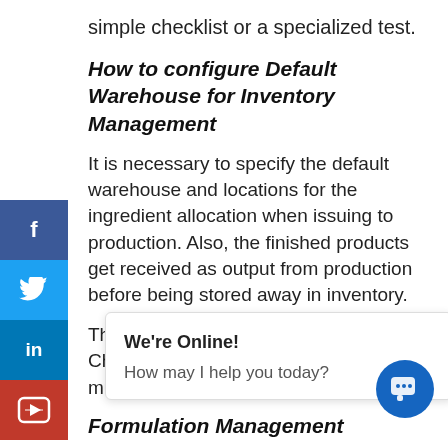simple checklist or a specialized test.
How to configure Default Warehouse for Inventory Management
It is necessary to specify the default warehouse and locations for the ingredient allocation when issuing to production. Also, the finished products get received as output from production before being stored away in inventory.
The Warehouse Management in Supply Chain Management allows you to create multiple war...
Formulation Management